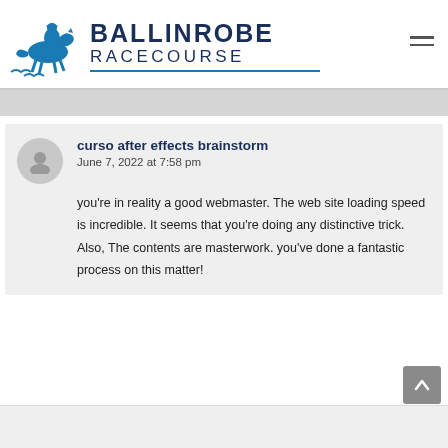[Figure (logo): Ballinrobe Racecourse logo with horse and jockey illustration in blue]
BALLINROBE RACECOURSE
curso after effects brainstorm
June 7, 2022 at 7:58 pm

you're in reality a good webmaster. The web site loading speed is incredible. It seems that you're doing any distinctive trick. Also, The contents are masterwork. you've done a fantastic process on this matter!